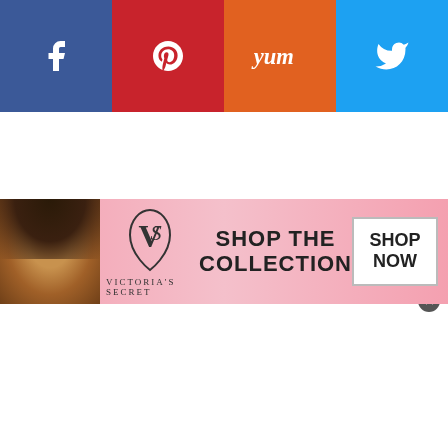[Figure (other): Social share bar with four buttons: Facebook (blue), Pinterest (red), Yummly (orange), Twitter (blue)]
The butterflies and dogs were tinted with yellow food coloring or can be left untinted.
[Figure (photo): Victoria's Secret advertisement banner with model, VS logo, 'SHOP THE COLLECTION' text, and 'SHOP NOW' button]